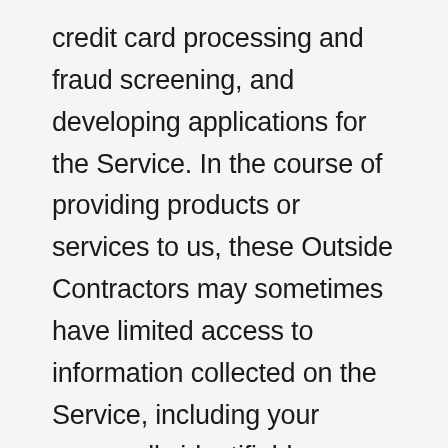credit card processing and fraud screening, and developing applications for the Service. In the course of providing products or services to us, these Outside Contractors may sometimes have limited access to information collected on the Service, including your personally identifiable information. We request that these contractors agree to (1) protect the privacy of your personally identifiable information consistent with this Privacy Policy, and (2) not use or disclose your personally identifiable information for